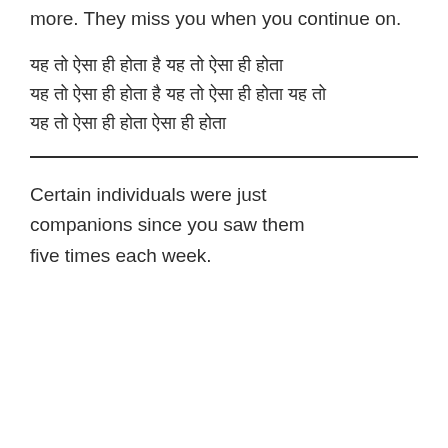more. They miss you when you continue on.
यह तो ऐसा ही होता है यह तो ऐसा ही होता यह तो ऐसा ही होता है यह तो ऐसा ही होता यह तो ऐसा ही होता ऐसा ही होता
Certain individuals were just companions since you saw them five times each week.